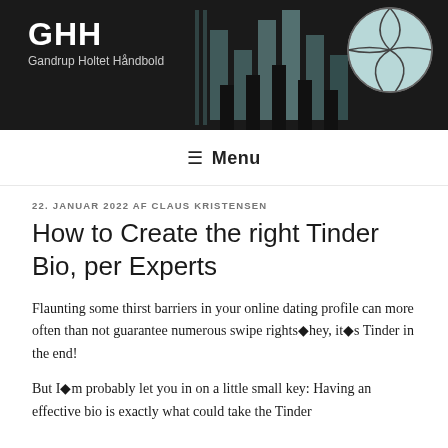[Figure (logo): GHH Gandrup Holtet Håndbold site header banner with dark background, vertical bar chart silhouette graphic and handball ball image on the right]
GHH
Gandrup Holtet Håndbold
☰ Menu
22. JANUAR 2022 AF CLAUS KRISTENSEN
How to Create the right Tinder Bio, per Experts
Flaunting some thirst barriers in your online dating profile can more often than not guarantee numerous swipe rights◆hey, it◆s Tinder in the end!
But I◆m probably let you in on a little small key: Having an effective bio is exactly what could take the Tinder